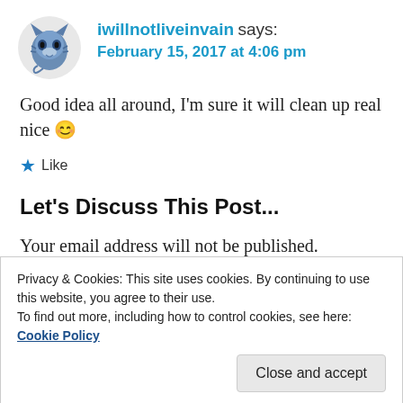[Figure (illustration): Avatar image of a stylized blue tiger/dragon illustration used as a user profile picture]
iwillnotliveinvain says:
February 15, 2017 at 4:06 pm
Good idea all around, I’m sure it will clean up real nice 😊
★ Like
Let’s Discuss This Post...
Your email address will not be published. Required fields are marked *
Privacy & Cookies: This site uses cookies. By continuing to use this website, you agree to their use.
To find out more, including how to control cookies, see here: Cookie Policy
Close and accept